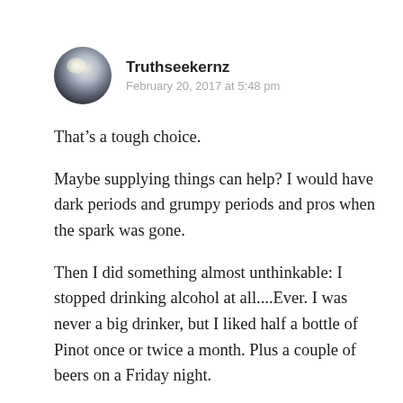[Figure (photo): Circular avatar image showing a dark landscape with a bright light/sun reflection, styled as a social media profile photo]
Truthseekernz
February 20, 2017 at 5:48 pm
That’s a tough choice.
Maybe supplying things can help? I would have dark periods and grumpy periods and pros when the spark was gone.
Then I did something almost unthinkable: I stopped drinking alcohol at all....Ever. I was never a big drinker, but I liked half a bottle of Pinot once or twice a month. Plus a couple of beers on a Friday night.
After about a month the lights came back on. After 3 months my memory ‘came back’. My